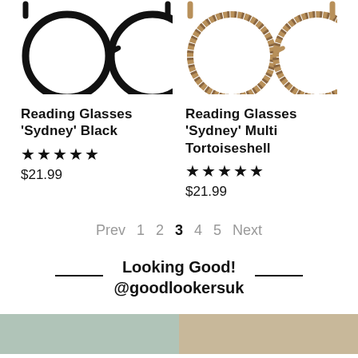[Figure (photo): Black round reading glasses (Sydney style) cropped at top]
[Figure (photo): Multi tortoiseshell round reading glasses (Sydney style) cropped at top]
Reading Glasses 'Sydney' Black
★★★★★ $21.99
Reading Glasses 'Sydney' Multi Tortoiseshell
★★★★★ $21.99
Prev 1 2 3 4 5 Next
Looking Good! @goodlookersuk
[Figure (photo): Bottom left lifestyle photo thumbnail]
[Figure (photo): Bottom right lifestyle photo thumbnail]